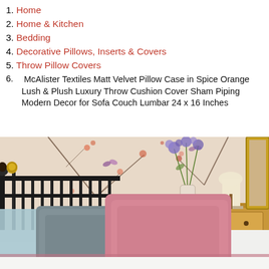1. Home
2. Home & Kitchen
3. Bedding
4. Decorative Pillows, Inserts & Covers
5. Throw Pillow Covers
6. McAlister Textiles Matt Velvet Pillow Case in Spice Orange Lush & Plush Luxury Throw Cushion Cover Sham Piping Modern Decor for Sofa Couch Lumbar 24 x 16 Inches
[Figure (photo): A bedroom scene with a black iron bed headboard, floral wallpaper, pink and gray velvet throw pillows on a white bed, a wooden bedside table with a lamp, and purple flowers in a white vase.]